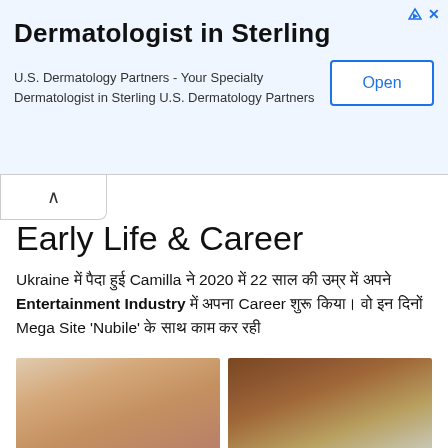[Figure (screenshot): Advertisement banner for 'Dermatologist in Sterling' by U.S. Dermatology Partners with an Open button, close and info icons]
Dermatologist in Sterling
U.S. Dermatology Partners - Your Specialty Dermatologist in Sterling U.S. Dermatology Partners
Early Life & Career
Ukraine में पैदा हुई Camilla ने 2020 में 22 साल की उम्र में अपने Entertainment Industry में अपना Career शुरू किया। वो इन दिनों Mega Site 'Nubile' के साथ काम कर रही
[Figure (photo): Two photos of a young blonde woman, one in a floral top against a kitchen background, another in a floral blouse against brown curtains]